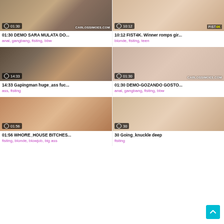[Figure (screenshot): Video thumbnail 1: 01:30 DEMO SARA MULATA DO... with watermark CARLOSSIMOES.COM]
01:30 DEMO SARA MULATA DO...
anal, gangbang, fisting, bbw
[Figure (screenshot): Video thumbnail 2: 10:12 FIST4K. Winner romps gir... with watermark FIST 4K]
10:12 FIST4K. Winner romps gir...
blonde, fisting, teen
[Figure (screenshot): Video thumbnail 3: 14:33 Gapingman huge_ass fuc...]
14:33 Gapingman huge_ass fuc...
ass, fisting
[Figure (screenshot): Video thumbnail 4: 01:30 DEMO-GOZANDO GOSTO... with watermark CARLOSSIMOES.COM]
01:30 DEMO-GOZANDO GOSTO...
anal, gangbang, fisting, bbw
[Figure (screenshot): Video thumbnail 5: 01:56 WHORE_HOUSE BITCHES...]
01:56 WHORE_HOUSE BITCHES...
fisting, blonde, blowjob, big ass
[Figure (screenshot): Video thumbnail 6: 30 Going_knuckle deep]
30 Going_knuckle deep
fisting